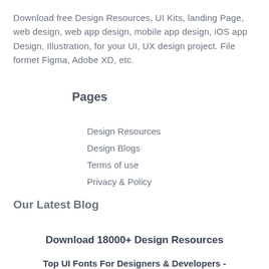Download free Design Resources, UI Kits, landing Page, web design, web app design, mobile app design, iOS app Design, Illustration, for your UI, UX design project. File formet Figma, Adobe XD, etc.
Pages
Design Resources
Design Blogs
Terms of use
Privacy & Policy
Our Latest Blog
Download 18000+ Design Resources
Top UI Fonts For Designers & Developers - With